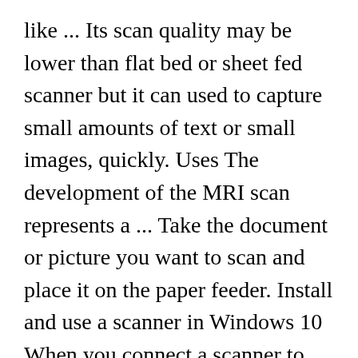like ... Its scan quality may be lower than flat bed or sheet fed scanner but it can used to capture small amounts of text or small images, quickly. Uses The development of the MRI scan represents a ... Take the document or picture you want to scan and place it on the paper feeder. Install and use a scanner in Windows 10 When you connect a scanner to your device or add a new scanner to your home network, you can usually start scanning pictures and documents right away. However, there are a few more exciting things that scanners can do. First created as a grocery store retail solution, the use of barcodes soon spread into other sectors like warehouse management. Answered What are the uses of scanner ? See answers 4